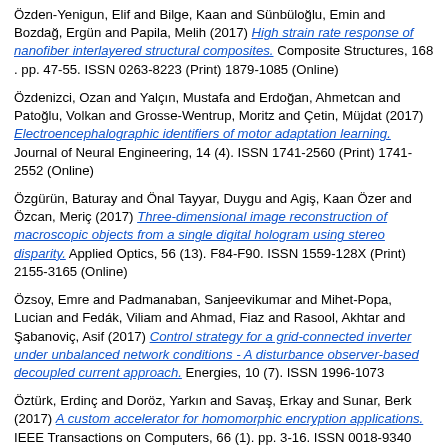Özden-Yenigun, Elif and Bilge, Kaan and Sünbüloğlu, Emin and Bozdağ, Ergün and Papila, Melih (2017) High strain rate response of nanofiber interlayered structural composites. Composite Structures, 168 . pp. 47-55. ISSN 0263-8223 (Print) 1879-1085 (Online)
Özdenizci, Ozan and Yalçın, Mustafa and Erdoğan, Ahmetcan and Patoğlu, Volkan and Grosse-Wentrup, Moritz and Çetin, Müjdat (2017) Electroencephalographic identifiers of motor adaptation learning. Journal of Neural Engineering, 14 (4). ISSN 1741-2560 (Print) 1741-2552 (Online)
Özgürün, Baturay and Önal Tayyar, Duygu and Agiş, Kaan Özer and Özcan, Meriç (2017) Three-dimensional image reconstruction of macroscopic objects from a single digital hologram using stereo disparity. Applied Optics, 56 (13). F84-F90. ISSN 1559-128X (Print) 2155-3165 (Online)
Özsoy, Emre and Padmanaban, Sanjeevikumar and Mihet-Popa, Lucian and Fedák, Viliam and Ahmad, Fiaz and Rasool, Akhtar and Şabanoviç, Asif (2017) Control strategy for a grid-connected inverter under unbalanced network conditions - A disturbance observer-based decoupled current approach. Energies, 10 (7). ISSN 1996-1073
Öztürk, Erdinç and Doröz, Yarkın and Savaş, Erkay and Sunar, Berk (2017) A custom accelerator for homomorphic encryption applications. IEEE Transactions on Computers, 66 (1). pp. 3-16. ISSN 0018-9340 (Print) 1557-9956 (Online)
Öztürkcan, Selcen and Kasap, Nihat and Çevik, Müge and Zaman, Tauhid (2017) An analysis of the Gezi Park social movement tweets. Aslib Journal of Information Management, 69 (4). pp. 426-440. ISSN 2050-3806 (Print) 1758-3748 (Online)